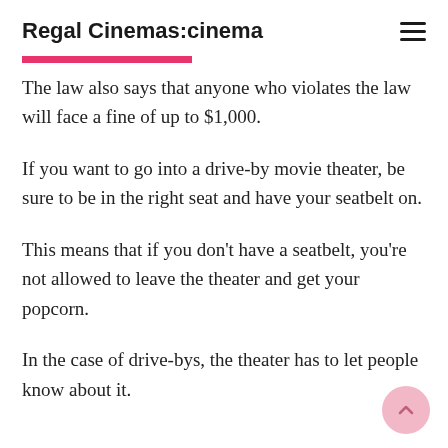Regal Cinemas:cinema
The law also says that anyone who violates the law will face a fine of up to $1,000.
If you want to go into a drive-by movie theater, be sure to be in the right seat and have your seatbelt on.
This means that if you don’t have a seatbelt, you’re not allowed to leave the theater and get your popcorn.
In the case of drive-bys, the theater has to let people know about it.